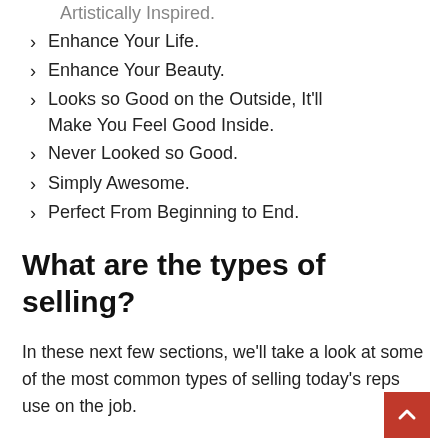Artistically Inspired.
Enhance Your Life.
Enhance Your Beauty.
Looks so Good on the Outside, It'll Make You Feel Good Inside.
Never Looked so Good.
Simply Awesome.
Perfect From Beginning to End.
What are the types of selling?
In these next few sections, we'll take a look at some of the most common types of selling today's reps use on the job.